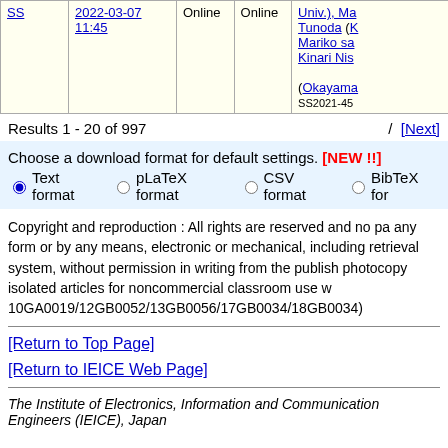|  | 2022-03-07 11:45 | Online | Online | Univ.), Ma Tunoda (K Mariko sa Kinari Nis (Okayama SS2021-45 |
| --- | --- | --- | --- | --- |
| SS | 2022-03-07 11:45 | Online | Online | Univ.), Ma Tunoda (K Mariko sa Kinari Nis (Okayama SS2021-45 |
Results 1 - 20 of 997  /  [Next]
Choose a download format for default settings. [NEW !!] Text format  pLaTeX format  CSV format  BibTeX for
Copyright and reproduction : All rights are reserved and no pa any form or by any means, electronic or mechanical, including retrieval system, without permission in writing from the publish photocopy isolated articles for noncommercial classroom use w 10GA0019/12GB0052/13GB0056/17GB0034/18GB0034)
[Return to Top Page]
[Return to IEICE Web Page]
The Institute of Electronics, Information and Communication Engineers (IEICE), Japan